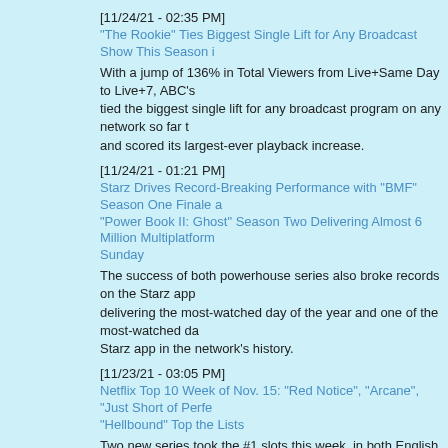[11/24/21 - 02:35 PM]
"The Rookie" Ties Biggest Single Lift for Any Broadcast Show This Season i
With a jump of 136% in Total Viewers from Live+Same Day to Live+7, ABC's tied the biggest single lift for any broadcast program on any network so far t and scored its largest-ever playback increase.
[11/24/21 - 01:21 PM]
Starz Drives Record-Breaking Performance with "BMF" Season One Finale "Power Book II: Ghost" Season Two Delivering Almost 6 Million Multiplatform Sunday
The success of both powerhouse series also broke records on the Starz app delivering the most-watched day of the year and one of the most-watched da Starz app in the network's history.
[11/23/21 - 03:05 PM]
Netflix Top 10 Week of Nov. 15: "Red Notice", "Arcane", "Just Short of Perfe "Hellbound" Top the Lists
Two new series took the #1 slots this week, in both English and Non-English "Arcane" with 38.42M hours viewed and Korean horror series "Hellbound" r "Squid Game" with 43.48M hours viewed.
[11/23/21 - 03:00 PM]
ESPN's "Monday Night Football" Giants-Buccaneers Matchup Delivers 12 M
Plus: "Monday Night Football with Peyton and Eli" on ESPN2 delivered an a 1,575,000 up from the brothers' Week 10 audience (1,554,000 viewers).
[11/19/21 - 02:30 PM]
"Grey's Anatomy" Season Opener Jumps More Than 6 Times Over L+SD to Rating in Adults 18-49 with 35 Days of Multiplatform Viewing